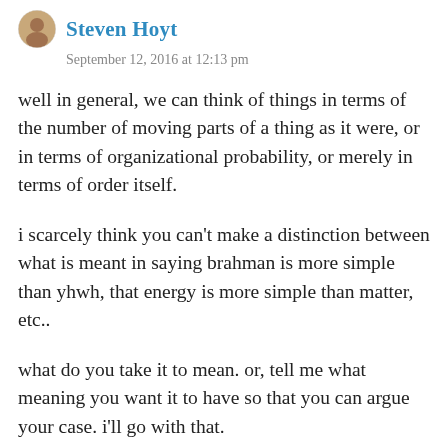[Figure (photo): Small circular avatar photo of Steven Hoyt]
Steven Hoyt
September 12, 2016 at 12:13 pm
well in general, we can think of things in terms of the number of moving parts of a thing as it were, or in terms of organizational probability, or merely in terms of order itself.
i scarcely think you can’t make a distinction between what is meant in saying brahman is more simple than yhwh, that energy is more simple than matter, etc..
what do you take it to mean. or, tell me what meaning you want it to have so that you can argue your case. i’ll go with that.